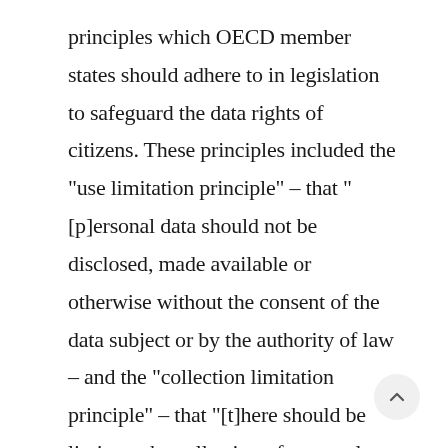principles which OECD member states should adhere to in legislation to safeguard the data rights of citizens. These principles included the "use limitation principle" – that "[p]ersonal data should not be disclosed, made available or otherwise without the consent of the data subject or by the authority of law – and the "collection limitation principle" – that "[t]here should be limits to the collection of personal data and any such data should be obtained by lawful and fair means and, where appropriate, with the knowledge or consent of the data subject".